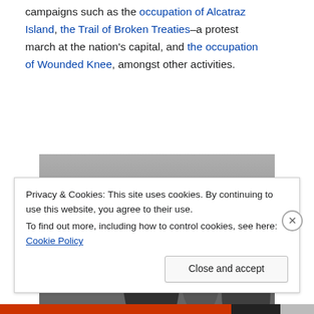campaigns such as the occupation of Alcatraz Island, the Trail of Broken Treaties–a protest march at the nation's capital, and the occupation of Wounded Knee, amongst other activities.
[Figure (photo): Black and white photograph of several people, one raising a fist in the air, standing in front of a chain-link fence with barbed wire.]
Privacy & Cookies: This site uses cookies. By continuing to use this website, you agree to their use. To find out more, including how to control cookies, see here: Cookie Policy